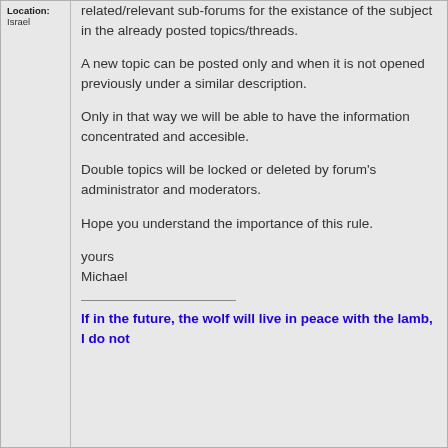Location: Israel
related/relevant sub-forums for the existance of the subject in the already posted topics/threads.
A new topic can be posted only and when it is not opened previously under a similar description.
Only in that way we will be able to have the information concentrated and accesible.
Double topics will be locked or deleted by forum's administrator and moderators.
Hope you understand the importance of this rule.
yours
Michael
If in the future, the wolf will live in peace with the lamb, I do not